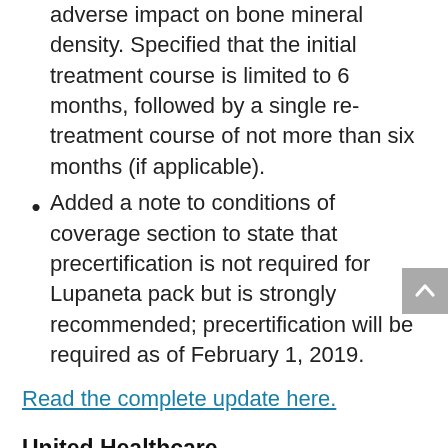adverse impact on bone mineral density. Specified that the initial treatment course is limited to 6 months, followed by a single re-treatment course of not more than six months (if applicable).
Added a note to conditions of coverage section to state that precertification is not required for Lupaneta pack but is strongly recommended; precertification will be required as of February 1, 2019.
Read the complete update here.
United Healthcare
Advance Notification and Prior Authorization Requirement